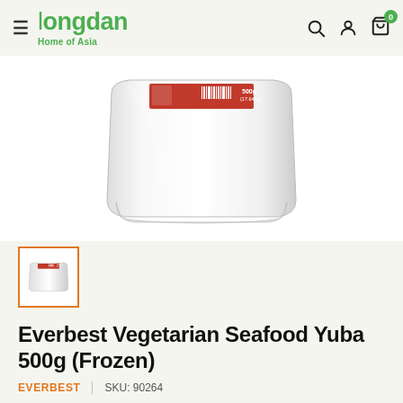Longdan — Home of Asia
[Figure (photo): Everbest Vegetarian Seafood Yuba 500g frozen product package — white/silver flat pouch with red label showing barcode and 500g (17.64oz) text]
[Figure (photo): Thumbnail of the same Everbest Vegetarian Seafood Yuba product package, selected with orange border]
Everbest Vegetarian Seafood Yuba 500g (Frozen)
EVERBEST   SKU: 90264